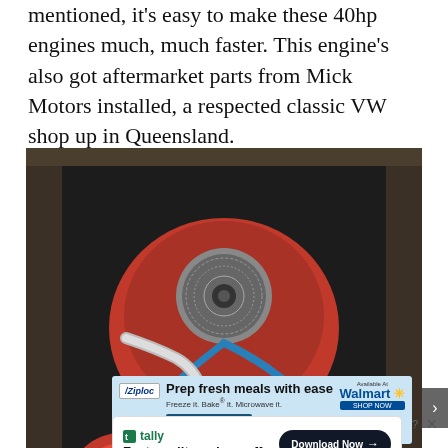mentioned, it's easy to make these 40hp engines much, much faster. This engine's also got aftermarket parts from Mick Motors installed, a respected classic VW shop up in Queensland.
[Figure (photo): Engine bay of a classic Volkswagen Beetle showing a modified air-cooled engine with red components, chrome air filter, blue hoses/wiring, and aftermarket parts from Mick Motors.]
[Figure (photo): Ziploc advertisement: Prep fresh meals with ease. Freeze it. Bake it. Microwave it. NEW ENDURABLES. Available at Walmart.]
[Figure (photo): Tally advertisement: Fast credit card payoff. Download Now button.]